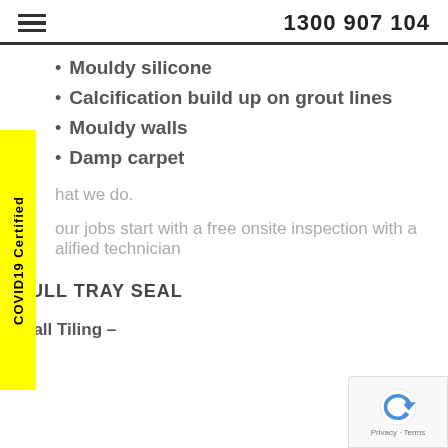1300 907 104
Mouldy silicone
Calcification build up on grout lines
Mouldy walls
Damp carpet
hat we do.
our jobs start with a free onsite inspection with a alified technician
FULL TRAY SEAL
Wall Tiling –